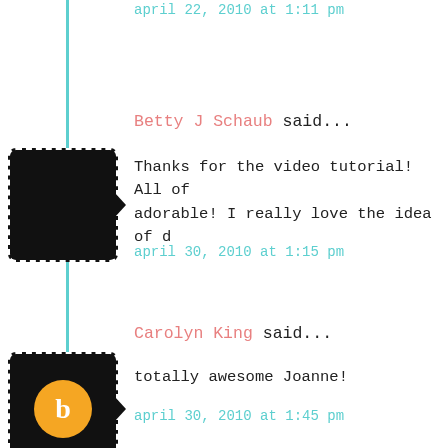april 22, 2010 at 1:11 pm
Betty J Schaub said...
Thanks for the video tutorial! All of adorable! I really love the idea of d
april 30, 2010 at 1:15 pm
Carolyn King said...
totally awesome Joanne!
april 30, 2010 at 1:45 pm
Jennifer said...
LOVE,LOVE,LOVE all your cards! Those